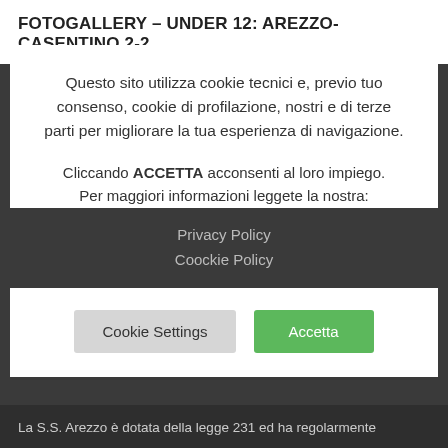FOTOGALLERY – UNDER 12: AREZZO-CASENTINO 2-2
Questo sito utilizza cookie tecnici e, previo tuo consenso, cookie di profilazione, nostri e di terze parti per migliorare la tua esperienza di navigazione.
Cliccando ACCETTA acconsenti al loro impiego. Per maggiori informazioni leggete la nostra:
Privacy Policy
Coockie Policy
Cookie Settings
Accetta
La S.S. Arezzo è dotata della legge 231 ed ha regolarmente